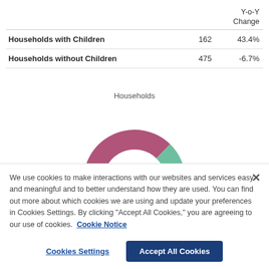|  |  | Y-o-Y Change |
| --- | --- | --- |
| Households with Children | 162 | 43.4% |
| Households without Children | 475 | -6.7% |
[Figure (donut-chart): Households]
We use cookies to make interactions with our websites and services easy and meaningful and to better understand how they are used. You can find out more about which cookies we are using and update your preferences in Cookies Settings. By clicking "Accept All Cookies," you are agreeing to our use of cookies. Cookie Notice